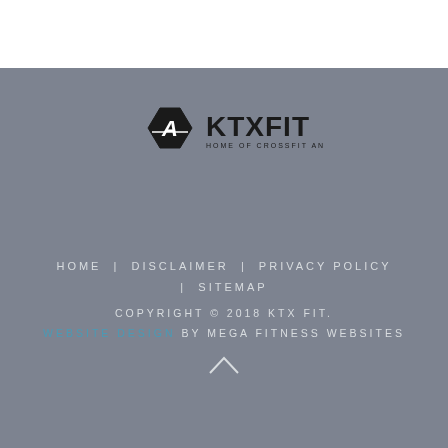[Figure (logo): KTXFIT logo — hexagon badge with letter A and text KTXFIT HOME OF CROSSFIT ANNIHILATION]
HOME | DISCLAIMER | PRIVACY POLICY
| SITEMAP
COPYRIGHT © 2018 KTX FIT.
WEBSITE DESIGN BY MEGA FITNESS WEBSITES